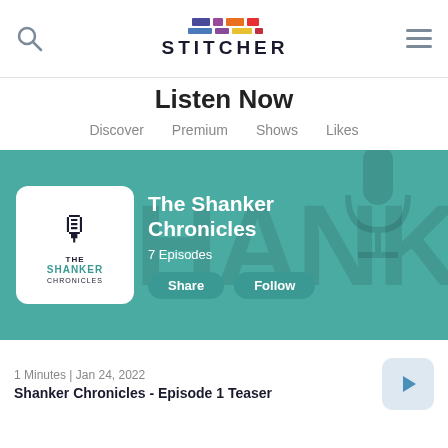Stitcher — Listen Now
Listen Now
Discover
Premium
Shows
Likes
[Figure (screenshot): Teal banner showing The Shanker Chronicles podcast art with white rounded-rectangle thumbnail, podcast title 'The Shanker Chronicles', '7 Episodes', Share and Follow buttons, watermark text in background]
1 Minutes | Jan 24, 2022
Shanker Chronicles - Episode 1 Teaser